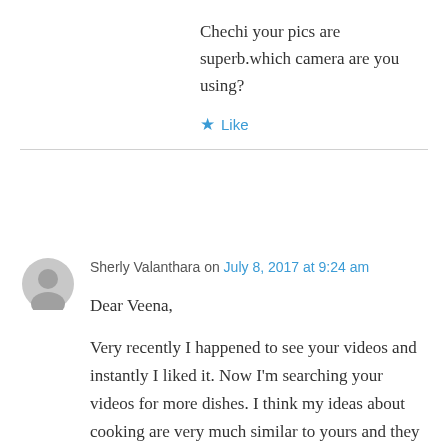Chechi your pics are superb.which camera are you using?
★ Like
Sherly Valanthara on July 8, 2017 at 9:24 am
Dear Veena,

Very recently I happened to see your videos and instantly I liked it. Now I'm searching your videos for more dishes. I think my ideas about cooking are very much similar to yours and they are simple.
Again you explain even the minute details so that your videos leave no doubt. I'm a Professor in profession but enjoy cooking whenever I get